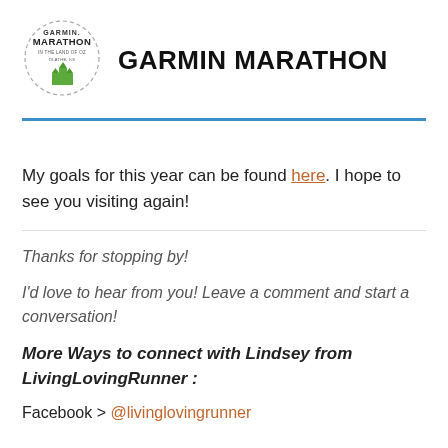[Figure (logo): Garmin Marathon In the Land of Oz, Olathe, KS circular logo with green building icons]
GARMIN MARATHON
My goals for this year can be found here. I hope to see you visiting again!
Thanks for stopping by!
I'd love to hear from you! Leave a comment and start a conversation!
More Ways to connect with Lindsey from LivingLovingRunner :
Facebook > @livinglovingrunner